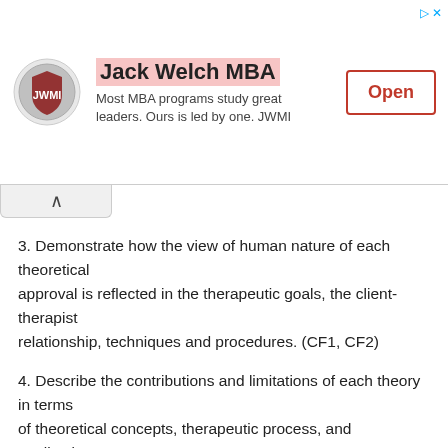[Figure (other): Jack Welch MBA advertisement banner with logo, tagline, and Open button]
3. Demonstrate how the view of human nature of each theoretical approval is reflected in the therapeutic goals, the client-therapist relationship, techniques and procedures. (CF1, CF2)
4. Describe the contributions and limitations of each theory in terms of theoretical concepts, therapeutic process, and applications to individual and group counseling and to different populations. (CF1, CF2, CF3).
5. Discuss the systems perspective in counseling and major model s of